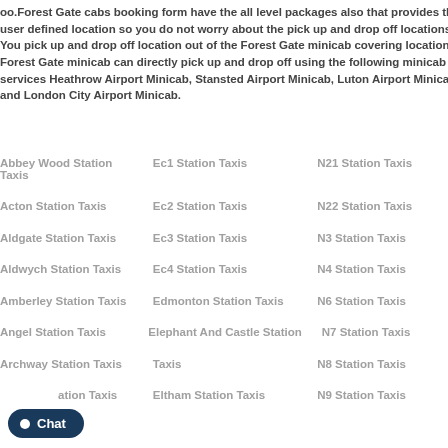oo.Forest Gate cabs booking form have the all level packages also that provides the user defined location so you do not worry about the pick up and drop off locations. You pick up and drop off location out of the Forest Gate minicab covering location, Forest Gate minicab can directly pick up and drop off using the following minicab services Heathrow Airport Minicab, Stansted Airport Minicab, Luton Airport Minicab and London City Airport Minicab.
Abbey Wood Station Taxis
Ec1 Station Taxis
N21 Station Taxis
Acton Station Taxis
Ec2 Station Taxis
N22 Station Taxis
Aldgate Station Taxis
Ec3 Station Taxis
N3 Station Taxis
Aldwych Station Taxis
Ec4 Station Taxis
N4 Station Taxis
Amberley Station Taxis
Edmonton Station Taxis
N6 Station Taxis
Angel Station Taxis
Elephant And Castle Station Taxis
N7 Station Taxis
Archway Station Taxis
Taxis
N8 Station Taxis
Arnos Grove Station Taxis
Eltham Station Taxis
N9 Station Taxis